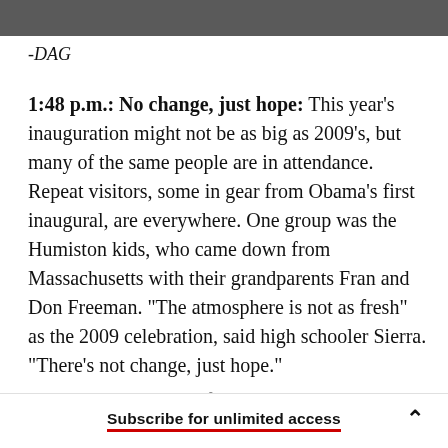[Figure (photo): Dark photo strip at top of page, partially visible image]
-DAG
1:48 p.m.: No change, just hope: This year's inauguration might not be as big as 2009's, but many of the same people are in attendance. Repeat visitors, some in gear from Obama's first inaugural, are everywhere. One group was the Humiston kids, who came down from Massachusetts with their grandparents Fran and Don Freeman. "The atmosphere is not as fresh" as the 2009 celebration, said high schooler Sierra. "There's not change, just hope."
Still, Fran had a good friend with the...
Subscribe for unlimited access